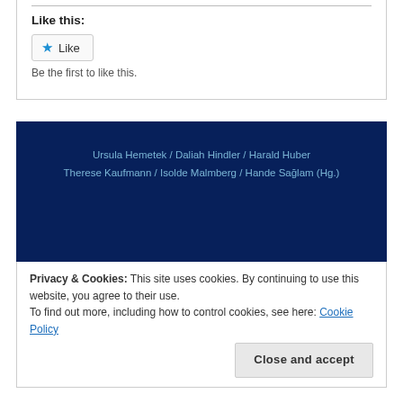Like this:
Like
Be the first to like this.
[Figure (other): Dark navy blue banner with author names: Ursula Hemetek / Daliah Hindler / Harald Huber, Therese Kaufmann / Isolde Malmberg / Hande Sağlam (Hg.)]
Privacy & Cookies: This site uses cookies. By continuing to use this website, you agree to their use.
To find out more, including how to control cookies, see here: Cookie Policy
Close and accept